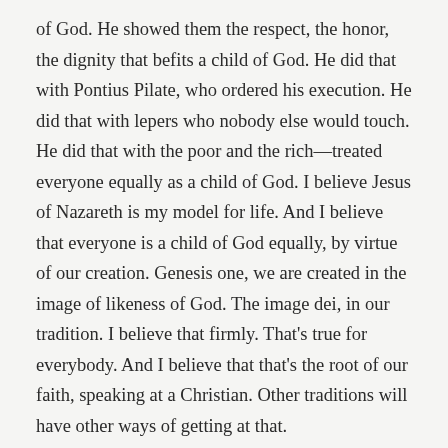of God. He showed them the respect, the honor, the dignity that befits a child of God. He did that with Pontius Pilate, who ordered his execution. He did that with lepers who nobody else would touch. He did that with the poor and the rich—treated everyone equally as a child of God. I believe Jesus of Nazareth is my model for life. And I believe that everyone is a child of God equally, by virtue of our creation. Genesis one, we are created in the image of likeness of God. The image dei, in our tradition. I believe that firmly. That's true for everybody. And I believe that that's the root of our faith, speaking at a Christian. Other traditions will have other ways of getting at that.
And ...